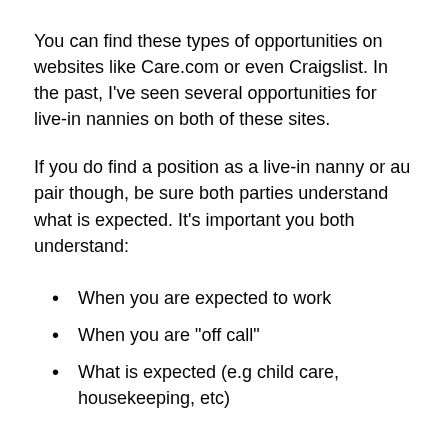You can find these types of opportunities on websites like Care.com or even Craigslist. In the past, I’ve seen several opportunities for live-in nannies on both of these sites.
If you do find a position as a live-in nanny or au pair though, be sure both parties understand what is expected. It’s important you both understand:
When you are expected to work
When you are “off call”
What is expected (e.g child care, housekeeping, etc)